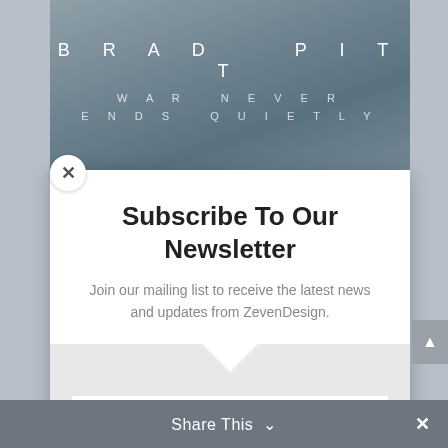[Figure (screenshot): Movie poster background showing Brad Pitt film with dark stormy sky. Text reads 'BRAD PITT' and 'WAR NEVER ENDS QUIETLY']
Subscribe To Our Newsletter
Join our mailing list to receive the latest news and updates from ZevenDesign.
EMAIL
SUBSCRIBE!
Share This